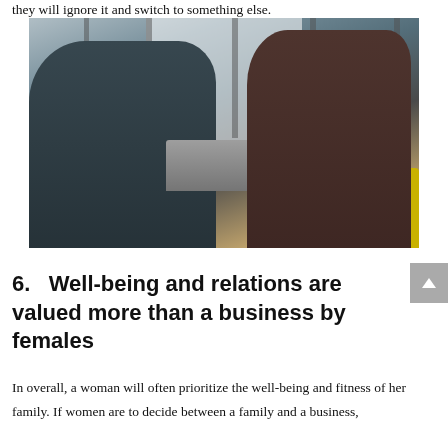they will ignore it and switch to something else.
[Figure (photo): Two people sitting across from each other with a laptop between them in a modern office lounge setting with windows in the background and a yellow couch on the right.]
6.   Well-being and relations are valued more than a business by females
In overall, a woman will often prioritize the well-being and fitness of her family. If women are to decide between a family and a business,